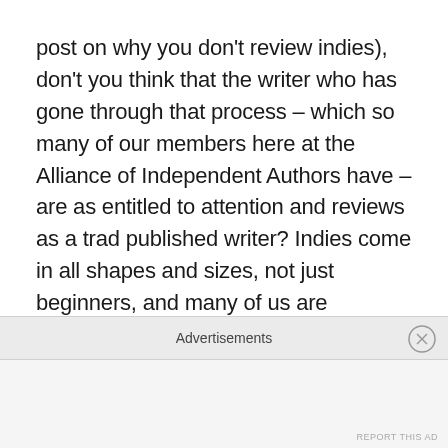post on why you don't review indies), don't you think that the writer who has gone through that process – which so many of our members here at the Alliance of Independent Authors have – are as entitled to attention and reviews as a trad published writer? Indies come in all shapes and sizes, not just beginners, and many of us are previously trad published writers now choosing self-publication as our preferred route for one or more of our projects. I guess the question, going forward, is: how do good reviewers find the best indie work? What sort of mechanism are book reviewers going to put in place to ensure you're actually seeing the full spectrum of books
Advertisements